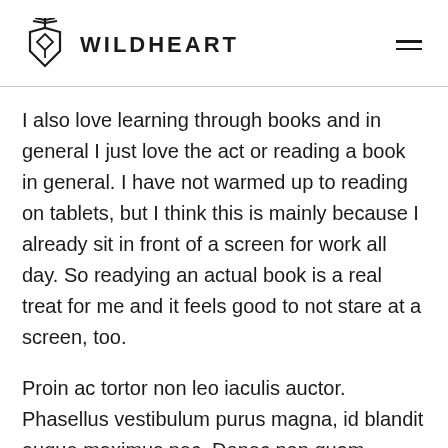WILDHEART
I also love learning through books and in general I just love the act or reading a book in general. I have not warmed up to reading on tablets, but I think this is mainly because I already sit in front of a screen for work all day. So readying an actual book is a real treat for me and it feels good to not stare at a screen, too.
Proin ac tortor non leo iaculis auctor. Phasellus vestibulum purus magna, id blandit augue maximus nec. Donec non quam ultrices, tempor nibh at, interdum lorem. Maecenas eget tellus id neque